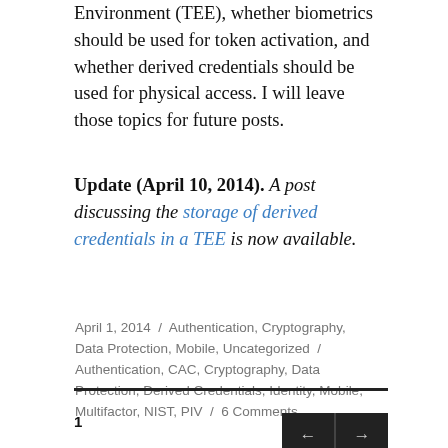Environment (TEE), whether biometrics should be used for token activation, and whether derived credentials should be used for physical access. I will leave those topics for future posts.
Update (April 10, 2014). A post discussing the storage of derived credentials in a TEE is now available.
April 1, 2014 / Authentication, Cryptography, Data Protection, Mobile, Uncategorized / Authentication, CAC, Cryptography, Data Protection, Derived Credentials, Identity, Mobile, Multifactor, NIST, PIV / 6 Comments
1